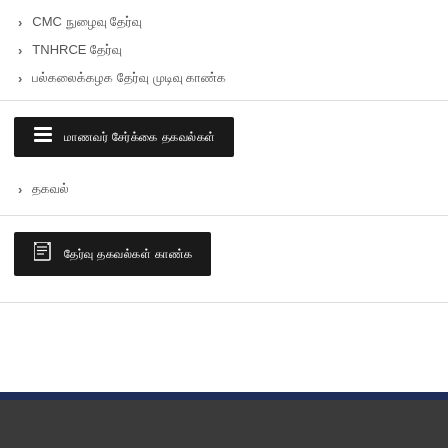CMC நுழைவு தேர்வு
TNHRCE தேர்வு
பல்கலைக்கழக தேர்வு முடிவு காண்க
மாணவர் சேர்க்கை தகவல்கள்
தகவல்
தேர்வு தகவல்கள் காண்க